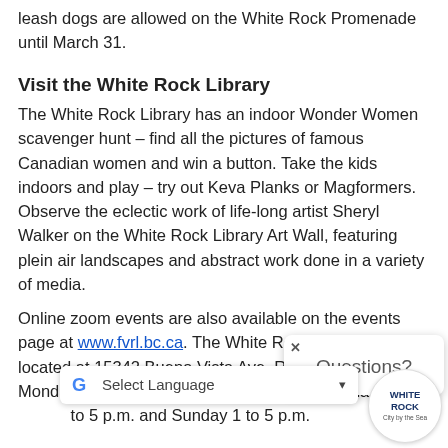leash dogs are allowed on the White Rock Promenade until March 31.
Visit the White Rock Library
The White Rock Library has an indoor Wonder Women scavenger hunt – find all the pictures of famous Canadian women and win a button. Take the kids indoors and play – try out Keva Planks or Magformers.  Observe the eclectic work of life-long artist Sheryl Walker on the White Rock Library Art Wall, featuring plein air landscapes and abstract work done in a variety of media.
Online zoom events are also available on the events page at www.fvrl.bc.ca. The White Rock Library is located at 15342 Buena Vista Ave. Regular hours are Monday – Wednesday, 9 a.m. to 8 p.m. Thursday – Saturday 9 to 5 p.m. and Sunday 1 to 5 p.m.
Visit Generations Playground
Located at R... Generations Playground is an all-ages, all-abilities playground featu... slides, zip lines, outdoor fitness equipment, music learning